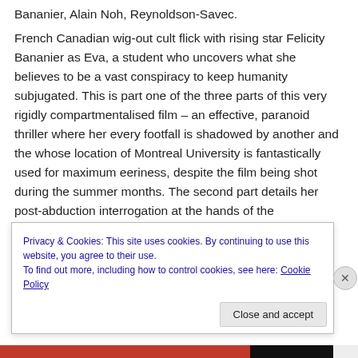Bananier, Alain Noh, Reynoldson-Savec.
French Canadian wig-out cult flick with rising star Felicity Bananier as Eva, a student who uncovers what she believes to be a vast conspiracy to keep humanity subjugated. This is part one of the three parts of this very rigidly compartmentalised film – an effective, paranoid thriller where her every footfall is shadowed by another and the whose location of Montreal University is fantastically used for maximum eeriness, despite the film being shot during the summer months. The second part details her post-abduction interrogation at the hands of the
Privacy & Cookies: This site uses cookies. By continuing to use this website, you agree to their use.
To find out more, including how to control cookies, see here: Cookie Policy
Close and accept